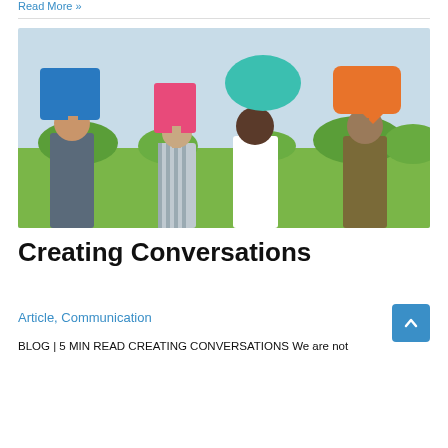Read More »
[Figure (photo): Four people standing outdoors on a grass field, each holding a colorful speech bubble shape above their heads. From left to right: a man in a dark shirt holding a blue square speech bubble, a woman in a striped shirt holding a pink rectangle, a woman in a white shirt holding a teal oval speech bubble, and a man in an olive shirt holding an orange speech bubble.]
Creating Conversations
Article, Communication
BLOG | 5 MIN READ CREATING CONVERSATIONS We are not conformists and here's your recommended highlights that usually...